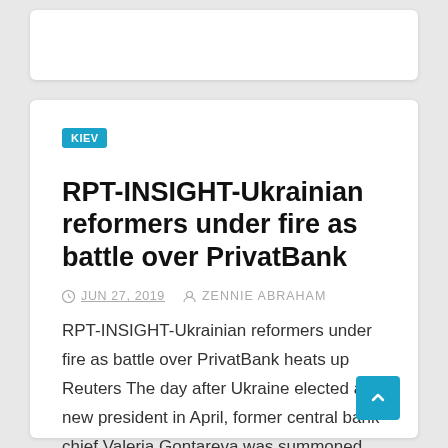RPT-INSIGHT-Ukrainian reformers under fire as battle over PrivatBank
JUN 27, 2019   ZENNIE ABRAHAM
RPT-INSIGHT-Ukrainian reformers under fire as battle over PrivatBank heats up Reuters The day after Ukraine elected a new president in April, former central bank chief Valeria Gontareva was summoned for…